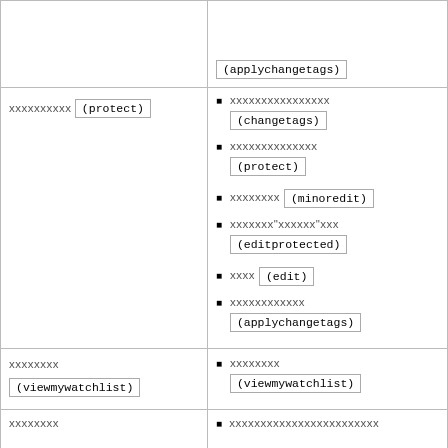|  | (applychangetags) |
| xxxxxxxxxx (protect) | ■ xxxxxxxxxxxxxxxx (changetags)
■ xxxxxxxxxxxxxx (protect)
■ xxxxxxxx (minoredit)
■ xxxxxxx"xxxxxx"xxx (editprotected)
■ xxxx (edit)
■ xxxxxxxxxxxx (applychangetags) |
| xxxxxxxx
(viewmywatchlist) | ■ xxxxxxxx (viewmywatchlist) |
| xxxxxxxx | ■ xxxxxxxxxxxxxxxxxxxxxxxx |